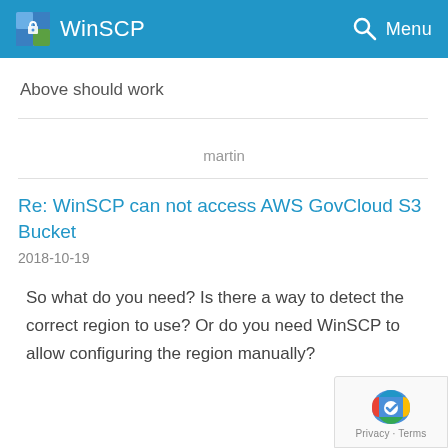WinSCP   Menu
Above should work
martin
Re: WinSCP can not access AWS GovCloud S3 Bucket
2018-10-19
So what do you need? Is there a way to detect the correct region to use? Or do you need WinSCP to allow configuring the region manually?